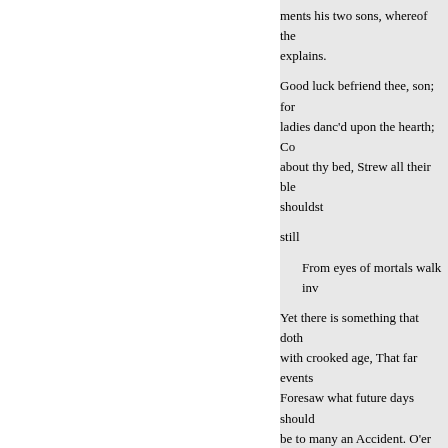ments his two sons, whereof the explains.
Good luck befriend thee, son; for ladies danc'd upon the hearth; Co about thy bed, Strew all their ble shouldst
still
From eyes of mortals walk inv
Yet there is something that doth with crooked age, That far events Foresaw what future days should be to many an Accident. O'er all asunder, Yet every one shall mak excellence he shall out-go them, in need of nothing, Yet on his bro Peace shall lull him in her flowe cease to roar; To harbour those th hands, can loose this Gordian Wh knot?"
The next Quantity and Quality sp